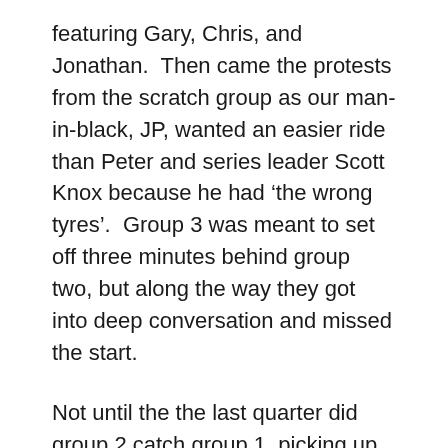featuring Gary, Chris, and Jonathan.  Then came the protests from the scratch group as our man-in-black, JP, wanted an easier ride than Peter and series leader Scott Knox because he had 'the wrong tyres'.  Group 3 was meant to set off three minutes behind group two, but along the way they got into deep conversation and missed the start.

Not until the the last quarter did group 2 catch group 1, picking up Joanne as a passenger.  Group 3's scintillating conversation had left them out the running.  On the final dash to the line no one would go near the front.  Jonathan attacked, Gary chased.  Chris